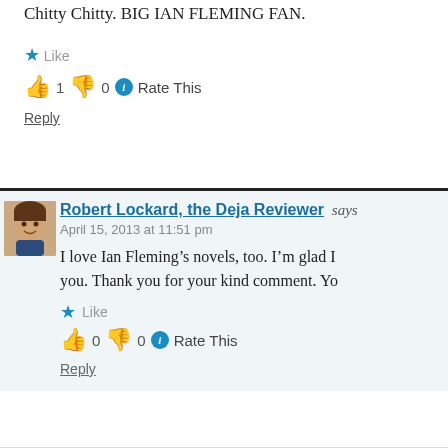Chitty Chitty. BIG IAN FLEMING FAN.
★ Like
👍 1 👎 0 ℹ Rate This
Reply
Robert Lockard, the Deja Reviewer says
April 15, 2013 at 11:51 pm
I love Ian Fleming's novels, too. I'm glad I you. Thank you for your kind comment. Yo
★ Like
👍 0 👎 0 ℹ Rate This
Reply